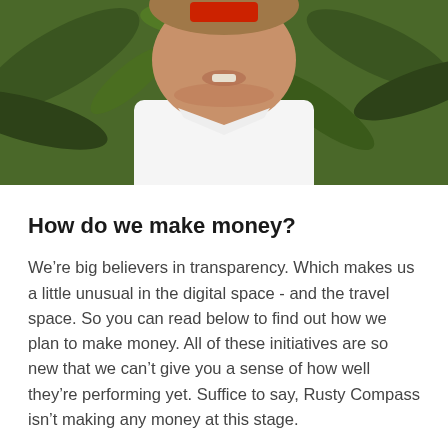[Figure (photo): Partial photo of a middle-aged man in a white t-shirt with green tropical foliage in the background. A red element (possibly a logo or button) is visible at the top of the image. Only the lower portion of his face and upper torso are visible.]
How do we make money?
We’re big believers in transparency. Which makes us a little unusual in the digital space - and the travel space. So you can read below to find out how we plan to make money. All of these initiatives are so new that we can’t give you a sense of how well they’re performing yet. Suffice to say, Rusty Compass isn’t making any money at this stage.
The most important thing to us is the independence